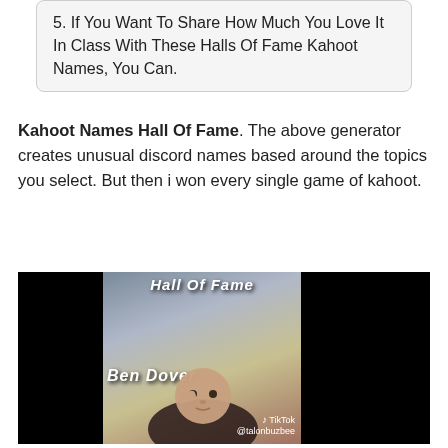5. If You Want To Share How Much You Love It In Class With These Halls Of Fame Kahoot Names, You Can.
Kahoot Names Hall Of Fame. The above generator creates unusual discord names based around the topics you select. But then i won every single game of kahoot.
[Figure (screenshot): TikTok video screenshot showing a person with text overlays reading 'Hall Of Fame' at top and 'Ben Dover' in the middle. Dark background with TikTok watermark (@talonbuzbee) at bottom right.]